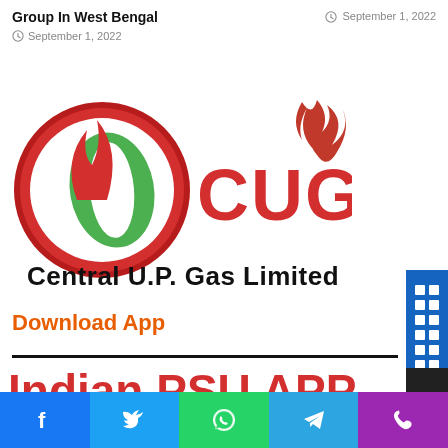Group In West Bengal
September 1, 2022
September 1, 2022
[Figure (logo): CUGL Central U.P. Gas Limited logo with red and green flame/leaf emblem]
Download App
Indian PSU APP